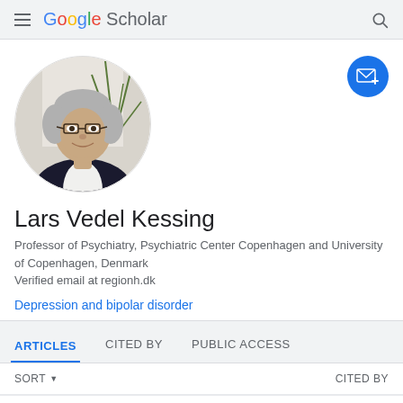Google Scholar
[Figure (photo): Circular profile photo of Lars Vedel Kessing, a middle-aged man with gray hair and glasses, wearing a dark suit jacket and white shirt, with a plant visible in the background.]
Lars Vedel Kessing
Professor of Psychiatry, Psychiatric Center Copenhagen and University of Copenhagen, Denmark
Verified email at regionh.dk
Depression and bipolar disorder
ARTICLES	CITED BY	PUBLIC ACCESS
SORT ▾	CITED BY
Association of depres...